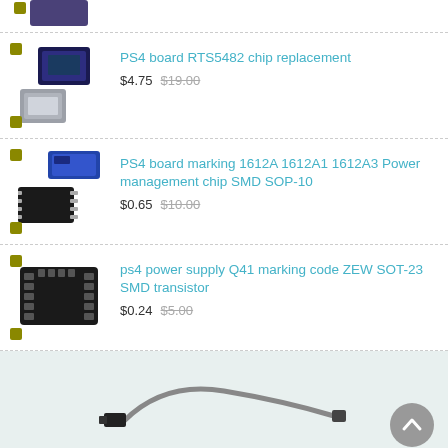[Figure (photo): Partial view of a product listing at top, showing only chips/components icon]
PS4 board RTS5482 chip replacement $4.75 $19.00
PS4 board marking 1612A 1612A1 1612A3 Power management chip SMD SOP-10 $0.65 $10.00
ps4 power supply Q41 marking code ZEW SOT-23 SMD transistor $0.24 $5.00
[Figure (photo): Photo of a cable connector at the bottom of the page]